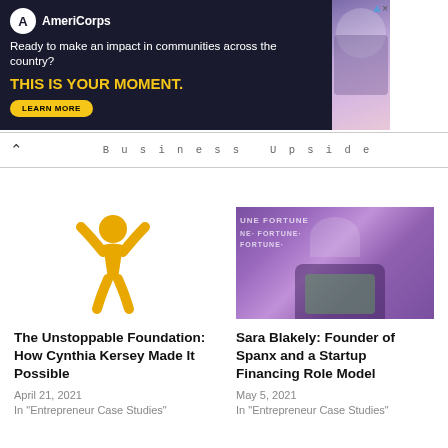[Figure (infographic): AmeriCorps advertisement banner with dark navy background. Logo with circle-A icon, tagline 'Ready to make an impact in communities across the country?', bold yellow text 'THIS IS YOUR MOMENT.' with a 'LEARN MORE' button. Photo of people at computers on right side.]
Business Upside
[Figure (illustration): Yellow stylized human figure with arms raised, logo of The Unstoppable Foundation]
The Unstoppable Foundation: How Cynthia Kersey Made It Possible
April 21, 2021
In "Entrepreneur Case Studies"
[Figure (photo): Sara Blakely seated on stage at what appears to be a Fortune conference, with purple/violet event branding backdrop]
Sara Blakely: Founder of Spanx and a Startup Financing Role Model
May 5, 2021
In "Entrepreneur Case Studies"